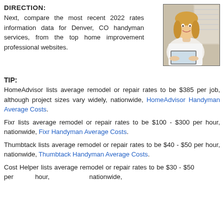DIRECTION:
Next, compare the most recent 2022 rates information data for Denver, CO handyman services, from the top home improvement professional websites.
[Figure (photo): Photo of a smiling woman working on a laptop computer, seated at a desk, with a bright background.]
TIP:
HomeAdvisor lists average remodel or repair rates to be $385 per job, although project sizes vary widely, nationwide, HomeAdvisor Handyman Average Costs.
Fixr lists average remodel or repair rates to be $100 - $300 per hour, nationwide, Fixr Handyman Average Costs.
Thumbtack lists average remodel or repair rates to be $40 - $50 per hour, nationwide, Thumbtack Handyman Average Costs.
Cost Helper lists average remodel or repair rates to be $30 - $50 per hour, nationwide,